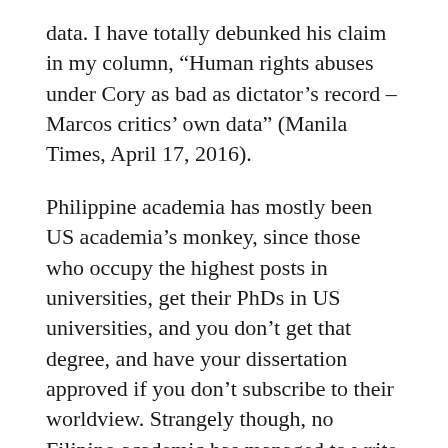data. I have totally debunked his claim in my column, “Human rights abuses under Cory as bad as dictator’s record – Marcos critics’ own data” (Manila Times, April 17, 2016).
Philippine academia has mostly been US academia’s monkey, since those who occupy the highest posts in universities, get their PhDs in US universities, and you don’t get that degree, and have your dissertation approved if you don’t subscribe to their worldview. Strangely though, no Filipino academic has managed to write a history of the Martial Law period.
The second group that has helped the oligarchs in the manufacture of anti-Marcos history is media